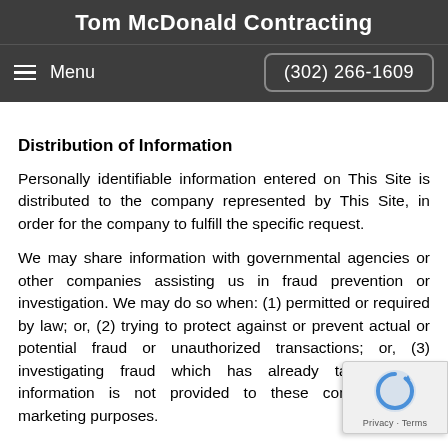Tom McDonald Contracting
Menu   (302) 266-1609
Distribution of Information
Personally identifiable information entered on This Site is distributed to the company represented by This Site, in order for the company to fulfill the specific request.
We may share information with governmental agencies or other companies assisting us in fraud prevention or investigation. We may do so when: (1) permitted or required by law; or, (2) trying to protect against or prevent actual or potential fraud or unauthorized transactions; or, (3) investigating fraud which has already taken place. information is not provided to these companies for marketing purposes.